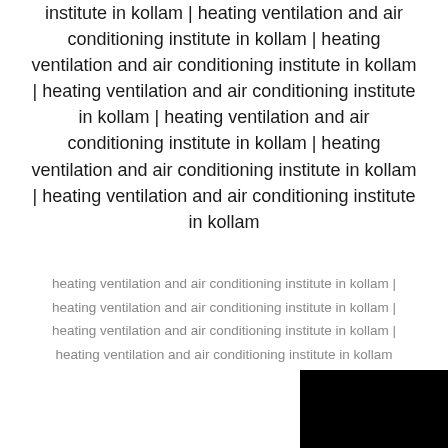institute in kollam | heating ventilation and air conditioning institute in kollam | heating ventilation and air conditioning institute in kollam | heating ventilation and air conditioning institute in kollam | heating ventilation and air conditioning institute in kollam | heating ventilation and air conditioning institute in kollam | heating ventilation and air conditioning institute in kollam
heating ventilation and air conditioning institute in kollam | heating ventilation and air conditioning institute in kollam | heating ventilation and air conditioning institute in kollam | heating ventilation and air conditioning institute in kollam
[Figure (other): Black rectangle in the bottom-right corner of the page]